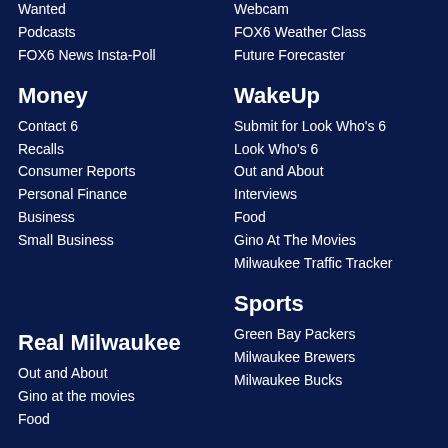Wanted
Podcasts
FOX6 News Insta-Poll
Webcam
FOX6 Weather Class
Future Forecaster
Money
Contact 6
Recalls
Consumer Reports
Personal Finance
Business
Small Business
WakeUp
Submit for Look Who's 6
Look Who's 6
Out and About
Interviews
Food
Gino At The Movies
Milwaukee Traffic Tracker
Real Milwaukee
Out and About
Gino at the movies
Food
Sports
Green Bay Packers
Milwaukee Brewers
Milwaukee Bucks